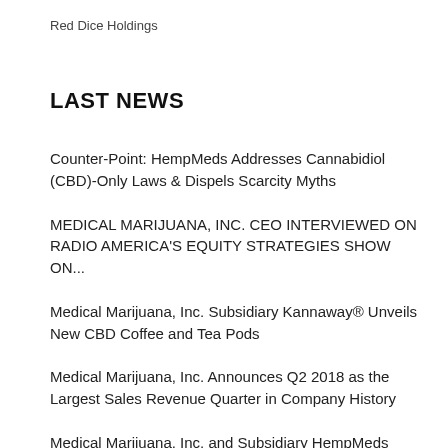Red Dice Holdings
LAST NEWS
Counter-Point: HempMeds Addresses Cannabidiol (CBD)-Only Laws & Dispels Scarcity Myths
MEDICAL MARIJUANA, INC. CEO INTERVIEWED ON RADIO AMERICA'S EQUITY STRATEGIES SHOW ON...
Medical Marijuana, Inc. Subsidiary Kannaway® Unveils New CBD Coffee and Tea Pods
Medical Marijuana, Inc. Announces Q2 2018 as the Largest Sales Revenue Quarter in Company History
Medical Marijuana, Inc. and Subsidiary HempMeds Brasil™ Garners Vast Media Coverage Across Brazil ...